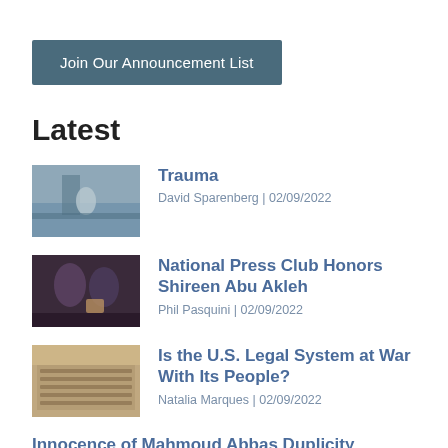Join Our Announcement List
Latest
[Figure (photo): Person standing in flood water near a structure]
Trauma
David Sparenberg | 02/09/2022
[Figure (photo): Two women posing together at an event]
National Press Club Honors Shireen Abu Akleh
Phil Pasquini | 02/09/2022
[Figure (photo): Overhead view of a large hall or gathering]
Is the U.S. Legal System at War With Its People?
Natalia Marques | 02/09/2022
Innocence of Mahmoud Abbas Duplicity